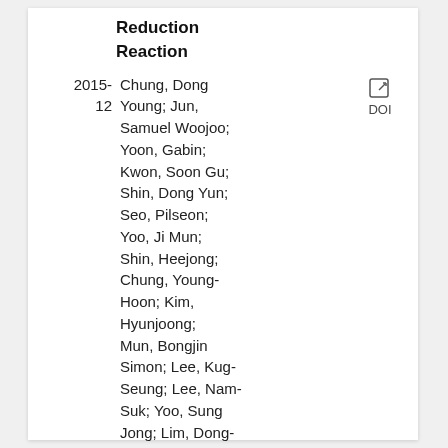Reduction Reaction
Chung, Dong Young; Jun, Samuel Woojoo; Yoon, Gabin; Kwon, Soon Gu; Shin, Dong Yun; Seo, Pilseon; Yoo, Ji Mun; Shin, Heejong; Chung, Young-Hoon; Kim, Hyunjoong; Mun, Bongjin Simon; Lee, Kug-Seung; Lee, Nam-Suk; Yoo, Sung Jong; Lim, Dong-Hee; Kang, Kisuk; Sung, Yung-Eun; Hyeon, Taeghwan
2015-12
DOI
Journal of the American